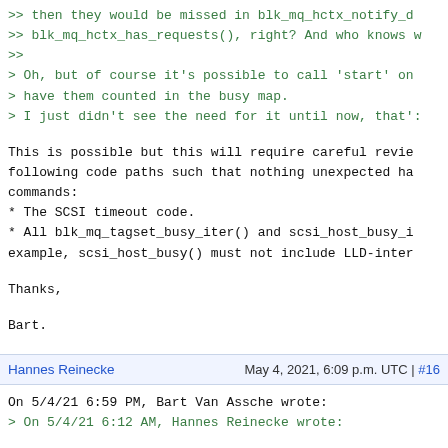>> then they would be missed in blk_mq_hctx_notify_d
>> blk_mq_hctx_has_requests(), right? And who knows w
>>
> Oh, but of course it's possible to call 'start' on
> have them counted in the busy map.
> I just didn't see the need for it until now, that's
This is possible but this will require careful revie
following code paths such that nothing unexpected ha
commands:
* The SCSI timeout code.
* All blk_mq_tagset_busy_iter() and scsi_host_busy_i
example, scsi_host_busy() must not include LLD-inter

Thanks,

Bart.
Hannes Reinecke   May 4, 2021, 6:09 p.m. UTC | #16
On 5/4/21 6:59 PM, Bart Van Assche wrote:
> On 5/4/21 6:12 AM, Hannes Reinecke wrote:

>> On 5/4/21 12:55 PM, John Garry wrote: